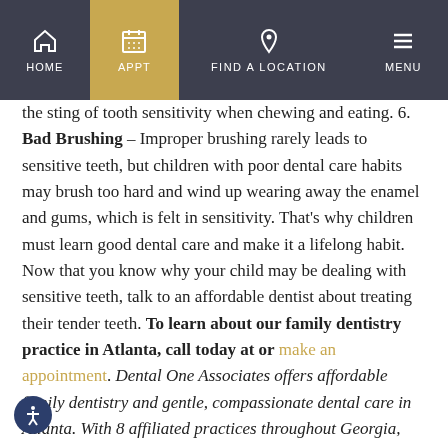HOME | APPT | FIND A LOCATION | MENU
the sting of tooth sensitivity when chewing and eating. 6. Bad Brushing – Improper brushing rarely leads to sensitive teeth, but children with poor dental care habits may brush too hard and wind up wearing away the enamel and gums, which is felt in sensitivity. That's why children must learn good dental care and make it a lifelong habit. Now that you know why your child may be dealing with sensitive teeth, talk to an affordable dentist about treating their tender teeth. To learn about our family dentistry practice in Atlanta, call today at or make an appointment. Dental One Associates offers affordable family dentistry and gentle, compassionate dental care in Atlanta. With 8 affiliated practices throughout Georgia, our offices are conveniently located with extended hours to meet your needs. At , we provide most dental services, from basic preventative care and general dentistry to specialized